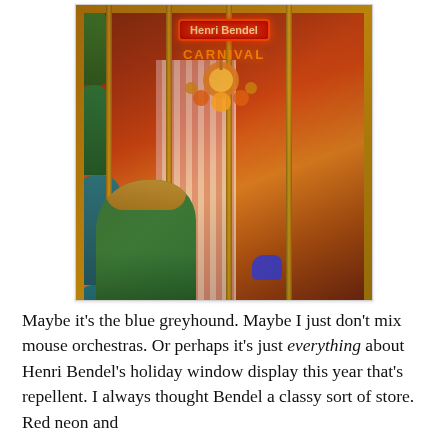[Figure (photo): A woman in a green outfit photographing the Henri Bendel holiday store window display, which features mannequins in colorful dresses, a chandelier, neon sign reading 'Henri Bendel', and festive decorations.]
Maybe it's the blue greyhound. Maybe I just don't mix mouse orchestras. Or perhaps it's just everything about Henri Bendel's holiday window display this year that's repellent. I always thought Bendel a classy sort of store. Red neon and